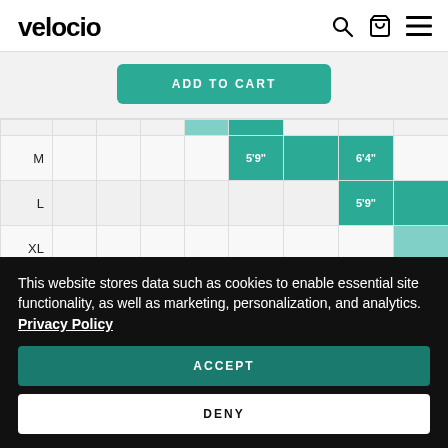velocio [logo] [search icon] [cart icon] [menu icon]
ADD TO CART
|  |  |  |  |  |  |  |  |  |
| --- | --- | --- | --- | --- | --- | --- | --- | --- |
| M |  |  |  |  | 5'9" |  | 6'4" |  |
| L |  |  |  |  |  |  | 5'9" |  |
| XL |  |  |  |  |  |  |  |  |
| XXL |  |  |  |  |  |  |  |  |
| XXXL |  |  |  |  |  |  |  |  |
This website stores data such as cookies to enable essential site functionality, as well as marketing, personalization, and analytics. Privacy Policy
ACCEPT
DENY